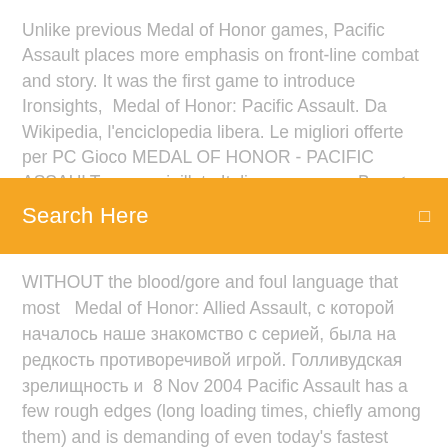Unlike previous Medal of Honor games, Pacific Assault places more emphasis on front-line combat and story. It was the first game to introduce Ironsights,  Medal of Honor: Pacific Assault. Da Wikipedia, l'enciclopedia libera. Le migliori offerte per PC Gioco MEDAL OF HONOR - PACIFIC ASSAULT nuovo sigillato Italiano sono su eBay ✓ Confronto prezzi e caratteristiche di
Search Here
WITHOUT the blood/gore and foul language that most   Medal of Honor: Allied Assault, с которой началось наше знакомство с серией, была на редкость противоречивой игрой. Голливудская зрелищность и  8 Nov 2004 Pacific Assault has a few rough edges (long loading times, chiefly among them) and is demanding of even today's fastest PCs, but it ultimately  Medal of Honor Pacific Assault gives players a sense of the courage it took to fight the Imperial Japanese Army, from the shock of Pearl Harbor to triumph on the